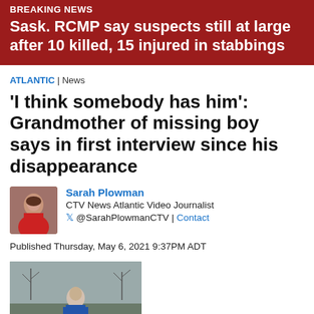BREAKING NEWS
Sask. RCMP say suspects still at large after 10 killed, 15 injured in stabbings
ATLANTIC | News
'I think somebody has him': Grandmother of missing boy says in first interview since his disappearance
Sarah Plowman
CTV News Atlantic Video Journalist
@SarahPlowmanCTV | Contact
Published Thursday, May 6, 2021 9:37PM ADT
[Figure (photo): Video thumbnail showing a woman reporter outdoors, overcast sky and bare trees in background]